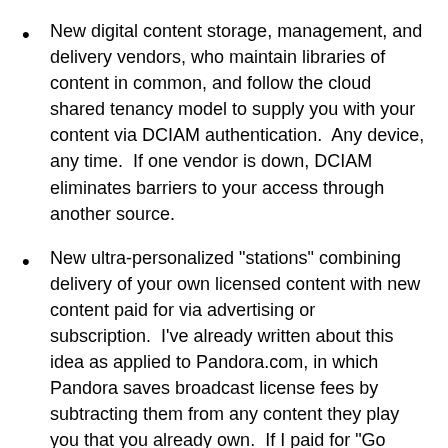New digital content storage, management, and delivery vendors, who maintain libraries of content in common, and follow the cloud shared tenancy model to supply you with your content via DCIAM authentication.  Any device, any time.  If one vendor is down, DCIAM eliminates barriers to your access through another source.
New ultra-personalized "stations" combining delivery of your own licensed content with new content paid for via advertising or subscription.  I've already written about this idea as applied to Pandora.com, in which Pandora saves broadcast license fees by subtracting them from any content they play you that you already own.  If I paid for "Go Your Own Way" by Fleetwood Mac when I bought rights to the "Rumours" album, there is no longer any reason why Pandora should pay BMI or ASCAP if they stream it to me.  DCIAM makes granular song-by-song licensing not only possible, but powerful.